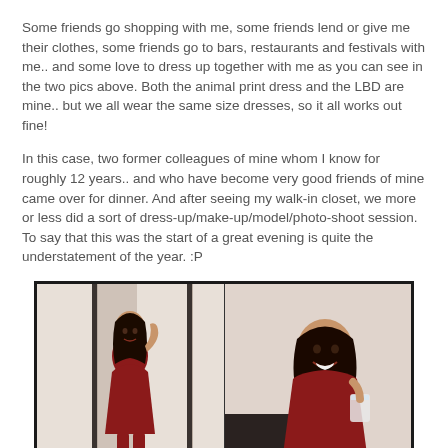Some friends go shopping with me, some friends lend or give me their clothes, some friends go to bars, restaurants and festivals with me.. and some love to dress up together with me as you can see in the two pics above. Both the animal print dress and the LBD are mine.. but we all wear the same size dresses, so it all works out fine!
In this case, two former colleagues of mine whom I know for roughly 12 years.. and who have become very good friends of mine came over for dinner. And after seeing my walk-in closet, we more or less did a sort of dress-up/make-up/model/photo-shoot session. To say that this was the start of a great evening is quite the understatement of the year. :P
[Figure (photo): Two side-by-side photos of a woman in a dark red/maroon dress. Left photo shows her posing near curtains, right photo shows her smiling and holding a glass. Both photos have a watermark reading 'Natassia Crystal'.]